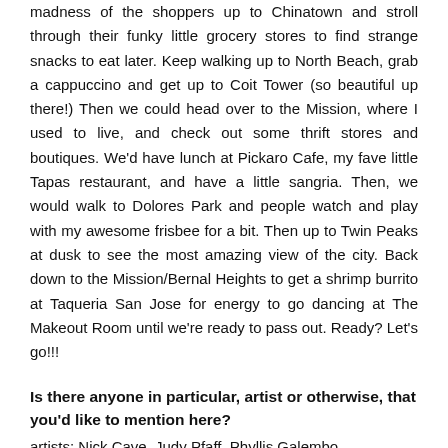madness of the shoppers up to Chinatown and stroll through their funky little grocery stores to find strange snacks to eat later. Keep walking up to North Beach, grab a cappuccino and get up to Coit Tower (so beautiful up there!) Then we could head over to the Mission, where I used to live, and check out some thrift stores and boutiques. We'd have lunch at Pickaro Cafe, my fave little Tapas restaurant, and have a little sangria. Then, we would walk to Dolores Park and people watch and play with my awesome frisbee for a bit. Then up to Twin Peaks at dusk to see the most amazing view of the city. Back down to the Mission/Bernal Heights to get a shrimp burrito at Taqueria San Jose for energy to go dancing at The Makeout Room until we're ready to pass out. Ready? Let's go!!!
Is there anyone in particular, artist or otherwise, that you'd like to mention here?
artists: Nick Cave, Judy Pfaff, Phyllis Galembo
musicians: Os Mutantes, Stevie Wonder, Funkadelic
authors: Joseph Campbell, David Sedaris, Eckhart Tolle